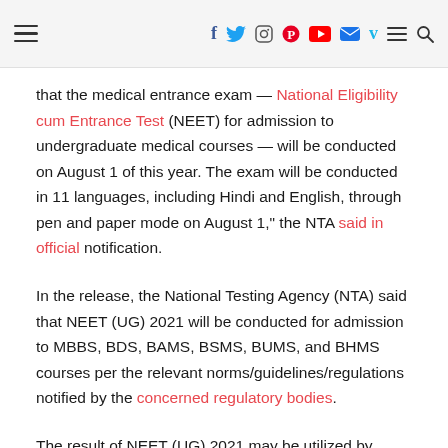[hamburger menu] [f] [twitter] [instagram] [pinterest] [youtube] [mail] [vimeo] [menu] [search]
that the medical entrance exam — National Eligibility cum Entrance Test (NEET) for admission to undergraduate medical courses — will be conducted on August 1 of this year. The exam will be conducted in 11 languages, including Hindi and English, through pen and paper mode on August 1," the NTA said in official notification.
In the release, the National Testing Agency (NTA) said that NEET (UG) 2021 will be conducted for admission to MBBS, BDS, BAMS, BSMS, BUMS, and BHMS courses per the relevant norms/guidelines/regulations notified by the concerned regulatory bodies.
The result of NEET (UG) 2021 may be utilized by other entities of central / state government (including Indian Nursing Council / nursing colleges/schools, JIPMER) for counseling / admission to